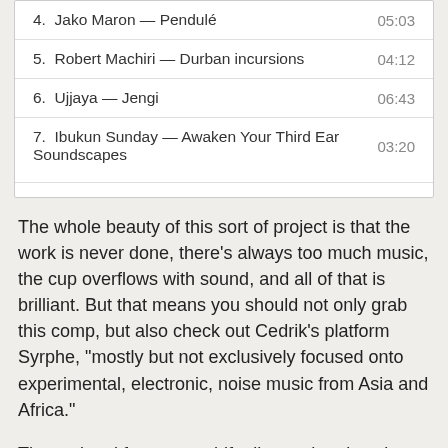| # | Track | Duration |
| --- | --- | --- |
| 4. | Jako Maron — Pendulé | 05:03 |
| 5. | Robert Machiri — Durban incursions | 04:12 |
| 6. | Ujjaya — Jengi | 06:43 |
| 7. | Ibukun Sunday — Awaken Your Third Ear Soundscapes | 03:20 |
The whole beauty of this sort of project is that the work is never done, there's always too much music, the cup overflows with sound, and all of that is brilliant. But that means you should not only grab this comp, but also check out Cedrik's platform Syrphe, "mostly but not exclusively focused onto experimental, electronic, noise music from Asia and Africa."
The regional focus can shift all over the place in those categories, including the Middle East – Lebanon I see on the top of the list – but it's all just generally great music, and stuff that often gets missed. Press in London